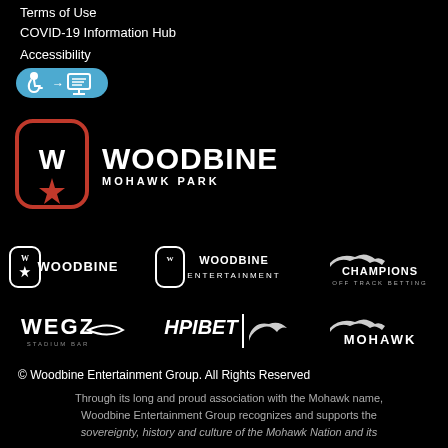Terms of Use
COVID-19 Information Hub
Accessibility
[Figure (logo): Accessibility icons: wheelchair and computer/TTY accessibility symbols in blue pill-shaped badge]
[Figure (logo): Woodbine Mohawk Park logo: red oval with stylized W and red star, next to WOODBINE MOHAWK PARK text in white]
[Figure (logo): Six partner logos in two rows: Woodbine, Woodbine Entertainment, Champions Off Track Betting, WEGZ Stadium Bar, HPIBET, Mohawk]
© Woodbine Entertainment Group. All Rights Reserved
Through its long and proud association with the Mohawk name, Woodbine Entertainment Group recognizes and supports the sovereignty, history and culture of the Mohawk Nation and its